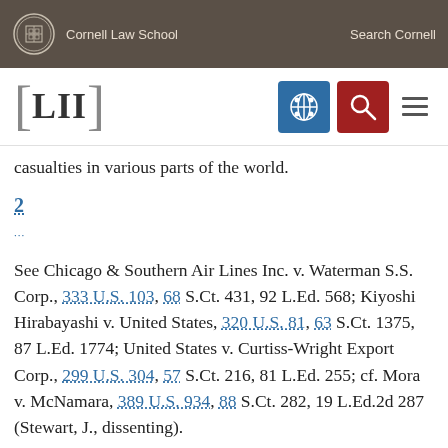Cornell Law School | Search Cornell
[Figure (logo): LII Legal Information Institute logo with Cornell Law School header and navigation icons]
casualties in various parts of the world.
2
See Chicago & Southern Air Lines Inc. v. Waterman S.S. Corp., 333 U.S. 103, 68 S.Ct. 431, 92 L.Ed. 568; Kiyoshi Hirabayashi v. United States, 320 U.S. 81, 63 S.Ct. 1375, 87 L.Ed. 1774; United States v. Curtiss-Wright Export Corp., 299 U.S. 304, 57 S.Ct. 216, 81 L.Ed. 255; cf. Mora v. McNamara, 389 U.S. 934, 88 S.Ct. 282, 19 L.Ed.2d 287 (Stewart, J., dissenting).
3
'It is quite apparent that if, in the maintenance of our international relations, embarrassment—